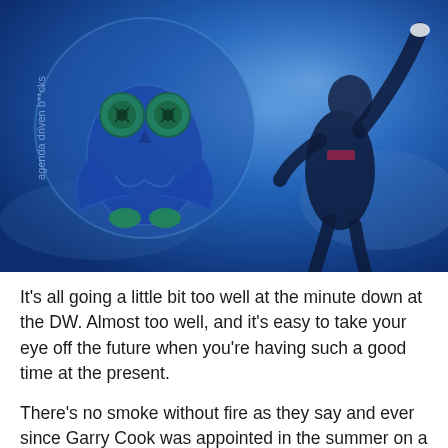[Figure (photo): A photo with a blue-tinted overlaid image of a man in a suit raising his arms upward, with a circular owl logo watermark on the left side of the image reading 'agenda driven b**cks']
It's all going a little bit too well at the minute down at the DW. Almost too well, and it's easy to take your eye off the future when you're having such a good time at the present.
There's no smoke without fire as they say and ever since Garry Cook was appointed in the summer on a non-exec basis, it has looked increasingly likely that